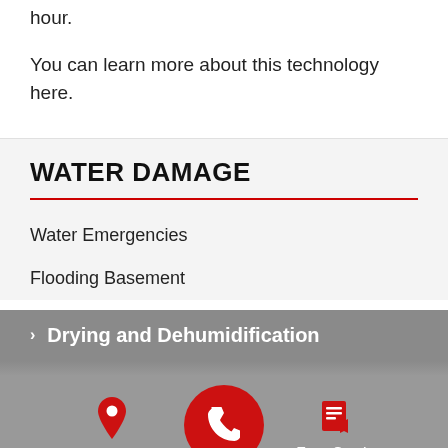hour.
You can learn more about this technology here.
WATER DAMAGE
Water Emergencies
Flooding Basement
Drying and Dehumidification
[Figure (infographic): Footer navigation bar with Service Area (map pin icon), phone call button (red circle with phone icon), and Free Quote (document icon)]